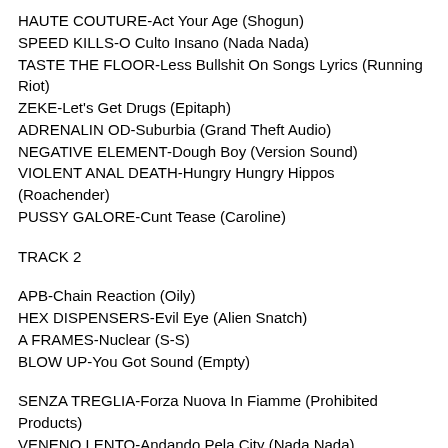HAUTE COUTURE-Act Your Age (Shogun)
SPEED KILLS-O Culto Insano (Nada Nada)
TASTE THE FLOOR-Less Bullshit On Songs Lyrics (Running Riot)
ZEKE-Let's Get Drugs (Epitaph)
ADRENALIN OD-Suburbia (Grand Theft Audio)
NEGATIVE ELEMENT-Dough Boy (Version Sound)
VIOLENT ANAL DEATH-Hungry Hungry Hippos (Roachender)
PUSSY GALORE-Cunt Tease (Caroline)
TRACK 2
APB-Chain Reaction (Oily)
HEX DISPENSERS-Evil Eye (Alien Snatch)
A FRAMES-Nuclear (S-S)
BLOW UP-You Got Sound (Empty)
SENZA TREGLIA-Forza Nuova In Fiamme (Prohibited Products)
VENENO LENTO-Andando Pela City (Nada Nada)
INOCENTES-Apenas Conto I Que Eu Vi (Nada Nada)